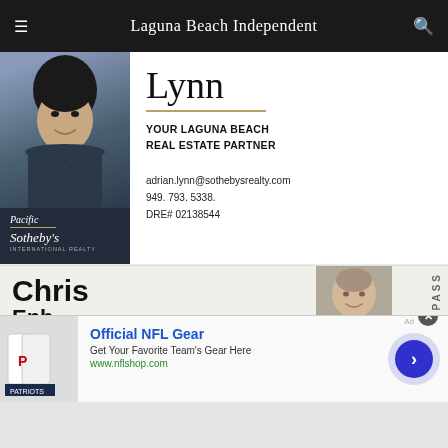Laguna Beach Independent
[Figure (photo): Headshot of a young Asian man smiling, wearing a dark shirt, with Pacific Sotheby's International Realty branding at the bottom of the image]
Lynn
YOUR LAGUNA BEACH REAL ESTATE PARTNER
adrian.lynn@sothebysrealty.com
949. 793. 5338.
DRE# 02138544
[Figure (photo): Partial view of another real estate advertisement featuring 'Chris' and a headshot of an older man, with 'PASS' text vertically on the right side]
[Figure (screenshot): Advertisement banner: Official NFL Gear - Get Your Favorite Team's Gear Here - www.nflshop.com, with a photo of NFL jerseys on the left and a blue arrow CTA button on the right]